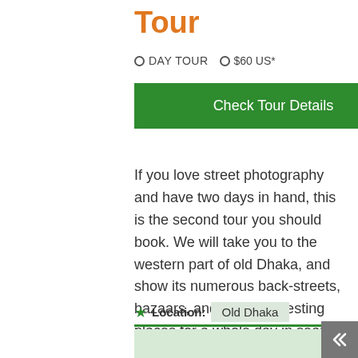Tour
⬛ DAY TOUR   ⬛ $60 US*
Check Tour Details
If you love street photography and have two days in hand, this is the second tour you should book. We will take you to the western part of old Dhaka, and show its numerous back-streets, bazaars, and other interesting places for a whole day in search of some perfect subjects to shoot.
Location: Old Dhaka
[Figure (map): Green map area showing Old Dhaka location]